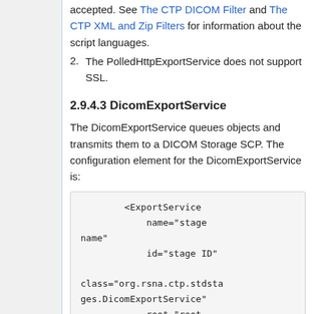accepted. See The CTP DICOM Filter and The CTP XML and Zip Filters for information about the script languages.
The PolledHttpExportService does not support SSL.
2.9.4.3 DicomExportService
The DicomExportService queues objects and transmits them to a DICOM Storage SCP. The configuration element for the DicomExportService is:
<ExportService
            name="stage
name"
            id="stage ID"

class="org.rsna.ctp.stdsta
ges.DicomExportService"
            root="root-
directory"